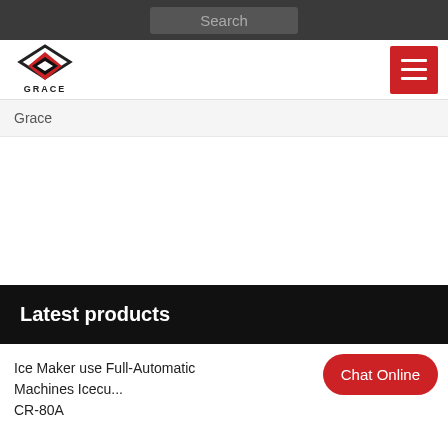Search
[Figure (logo): Grace company logo with red and black diamond/arrow shape and text GRACE below]
Grace
Latest products
Ice Maker use Full-Automatic Machines Icecu... CR-80A
Chat Online